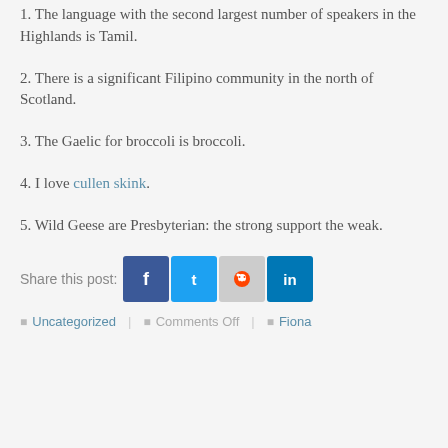1. The language with the second largest number of speakers in the Highlands is Tamil.
2. There is a significant Filipino community in the north of Scotland.
3. The Gaelic for broccoli is broccoli.
4. I love cullen skink.
5. Wild Geese are Presbyterian: the strong support the weak.
Share this post: [Facebook] [Twitter] [Reddit] [LinkedIn]
Uncategorized | Comments Off | Fiona